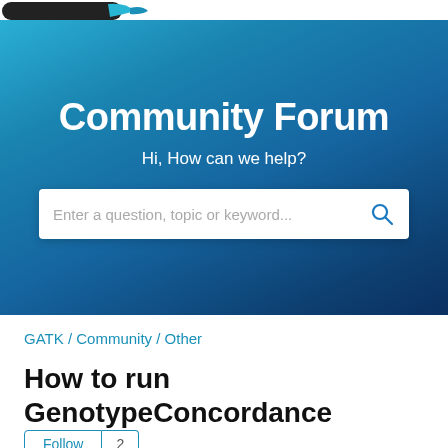[Figure (logo): GATK community forum logo — black rounded shape with teal/blue swoosh element]
Community Forum
Hi, How can we help?
Enter a question, topic or keyword...
GATK / Community / Other
How to run GenotypeConcordance
Follow  2